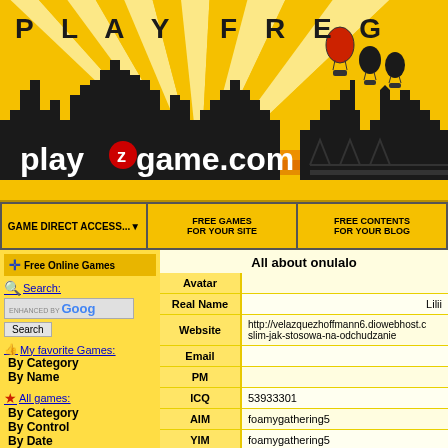[Figure (illustration): PlayZGame.com banner with city skyline silhouette, yellow sunburst rays, hot air balloons, and site logo 'playzgame.com']
P L A Y F R E G
playzgame.com
GAME DIRECT ACCESS... | FREE GAMES FOR YOUR SITE | FREE CONTENTS FOR YOUR BLOG
Free Online Games
Search:
ENHANCED BY Goog Search
My favorite Games:
By Category
By Name
All games:
By Category
By Control
By Date
By Name
By Popularity
By category:
Adventure
All about onulalo
| Field | Value |
| --- | --- |
| Avatar |  |
| Real Name | Lilii |
| Website | http://velazquezhoffmann6.diowebhost.c slim-jak-stosowa-na-odchudzanie |
| Email |  |
| PM |  |
| ICQ | 53933301 |
| AIM | foamygathering5 |
| YIM | foamygathering5 |
| MSNM | foamygathering5 |
| Location | Jasień |